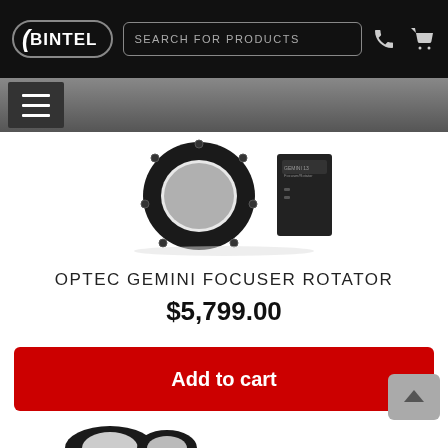BINTEL — Search for Products
[Figure (photo): Product photo of Optec Gemini Focuser Rotator — a circular black ring focuser device with an attached rectangular controller unit, shown on white background]
OPTEC GEMINI FOCUSER ROTATOR
$5,799.00
Add to cart